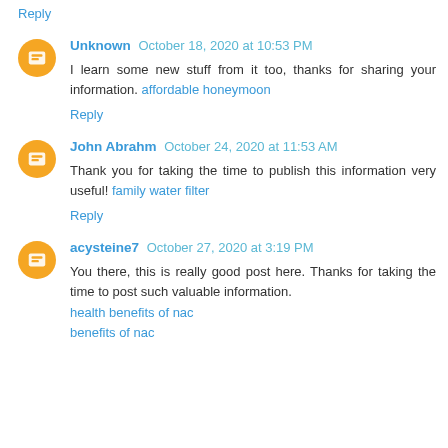Reply
Unknown October 18, 2020 at 10:53 PM
I learn some new stuff from it too, thanks for sharing your information. affordable honeymoon
Reply
John Abrahm October 24, 2020 at 11:53 AM
Thank you for taking the time to publish this information very useful! family water filter
Reply
acysteine7 October 27, 2020 at 3:19 PM
You there, this is really good post here. Thanks for taking the time to post such valuable information.
health benefits of nac
benefits of nac